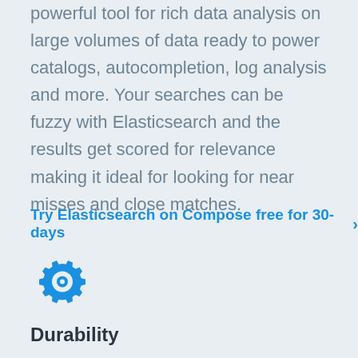powerful tool for rich data analysis on large volumes of data ready to power catalogs, autocompletion, log analysis and more. Your searches can be fuzzy with Elasticsearch and the results get scored for relevance making it ideal for looking for near misses and close matches.
Try Elasticsearch on Compose free for 30-days >
[Figure (illustration): Blue gear/settings icon with a concentric circle in the center]
Durability